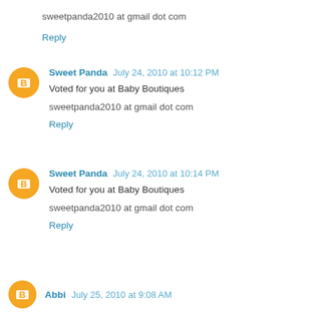sweetpanda2010 at gmail dot com
Reply
Sweet Panda  July 24, 2010 at 10:12 PM
Voted for you at Baby Boutiques
sweetpanda2010 at gmail dot com
Reply
Sweet Panda  July 24, 2010 at 10:14 PM
Voted for you at Baby Boutiques
sweetpanda2010 at gmail dot com
Reply
Abbi  July 25, 2010 at 9:08 AM